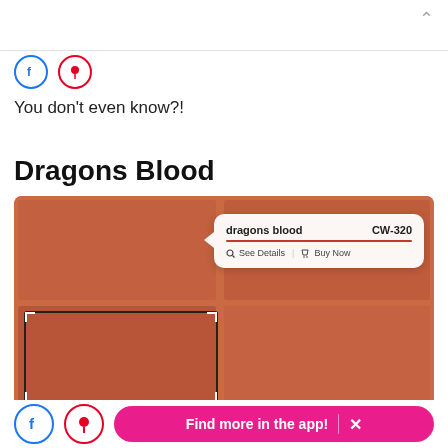[Figure (screenshot): Chevron up arrow in top-right corner of a mobile app UI]
[Figure (screenshot): Two small social media icons (Facebook blue, Pinterest red) below divider line]
You don't even know?!
Dragons Blood
[Figure (screenshot): Benjamin Moore paint color visualizer showing 'dragons blood CW-320' color swatches in orange-red tones with a tooltip popup showing the color name, code, See Details and Buy Now options]
benjaminmoore.com
[Figure (screenshot): Bottom bar with Facebook icon, Pinterest icon, and pink 'Find more in the app!' button with X close]